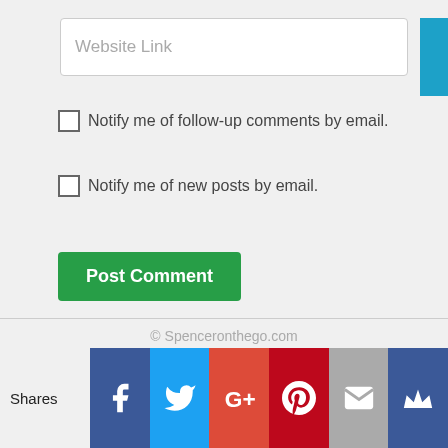[Figure (screenshot): Website Link input field with placeholder text]
Notify me of follow-up comments by email.
Notify me of new posts by email.
[Figure (screenshot): Post Comment button (green)]
© Spenceronthego.com
Disclaimer  Privacy Policy  Contact
[Figure (infographic): Social sharing bar with Shares label and icons: Facebook (blue), Twitter (light blue), Google+ (red-orange), Pinterest (dark red), Email (grey), Crown (dark blue)]